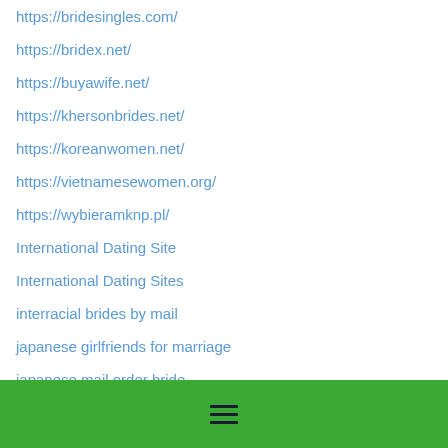https://bridesingles.com/
https://bridex.net/
https://buyawife.net/
https://khersonbrides.net/
https://koreanwomen.net/
https://vietnamesewomen.org/
https://wybieramknp.pl/
International Dating Site
International Dating Sites
interracial brides by mail
japanese girlfriends for marriage
japanese mail order bride
japanese mail order bride – https://japanesemailorderbride.com/
jetbride
latin dating
Latin Girls For Marriage
hamburger menu